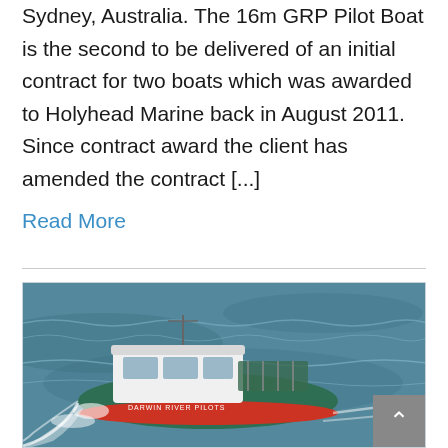Sydney, Australia. The 16m GRP Pilot Boat is the second to be delivered of an initial contract for two boats which was awarded to Holyhead Marine back in August 2011. Since contract award the client has amended the contract [...]
Read More
[Figure (photo): A white and green pilot boat with red hull stripe speeding through choppy ocean waters, with white wake spray around it. Text on hull reads 'DARWIN RIVER PILOTS'.]